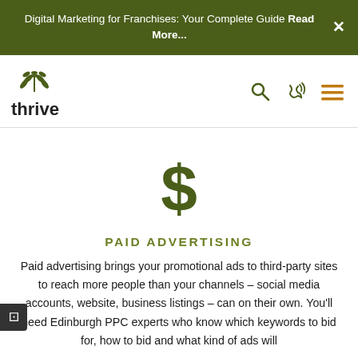Digital Marketing for Franchises: Your Complete Guide Read More...
[Figure (logo): Thrive agency logo with green leaf/plant icon above stylized text 'thrive']
[Figure (illustration): Large green dollar sign icon]
PAID ADVERTISING
Paid advertising brings your promotional ads to third-party sites to reach more people than your channels – social media accounts, website, business listings – can on their own. You'll need Edinburgh PPC experts who know which keywords to bid for, how to bid and what kind of ads will